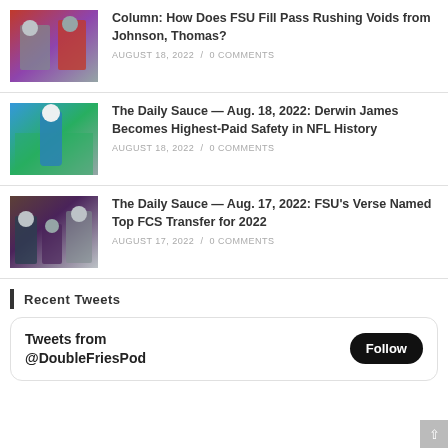[Figure (photo): Football players in action, FSU related]
Column: How Does FSU Fill Pass Rushing Voids from Johnson, Thomas?
AUGUST 18, 2022 /  0 COMMENTS
[Figure (photo): Football player in blue jersey raising hand, training camp]
The Daily Sauce — Aug. 18, 2022: Derwin James Becomes Highest-Paid Safety in NFL History
AUGUST 18, 2022 /  0 COMMENTS
[Figure (photo): Football players in dark uniforms at practice]
The Daily Sauce — Aug. 17, 2022: FSU's Verse Named Top FCS Transfer for 2022
AUGUST 17, 2022 /  0 COMMENTS
Recent Tweets
Tweets from @DoubleFriesPod Follow